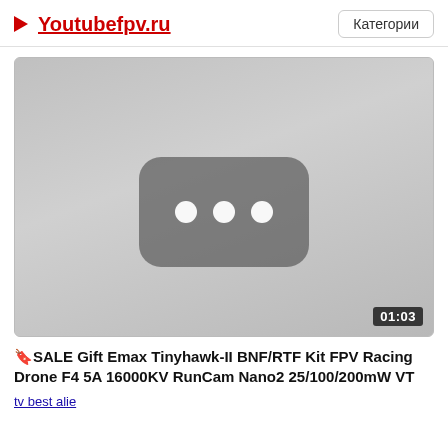▶ Youtubefpv.ru   Категории
[Figure (screenshot): YouTube video thumbnail placeholder showing a grey background with a YouTube-style rounded rectangle containing three white dots, and a duration badge showing 01:03 in the bottom right corner.]
🔖SALE Gift Emax Tinyhawk-II BNF/RTF Kit FPV Racing Drone F4 5A 16000KV RunCam Nano2 25/100/200mW VT
tv best alie